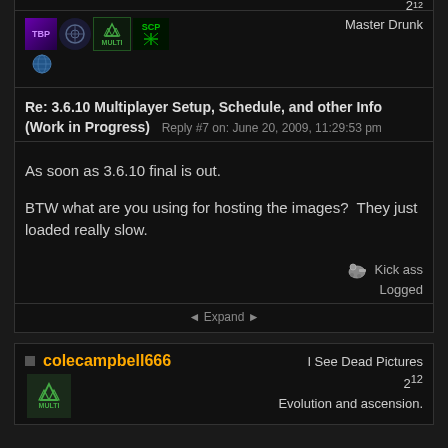2
Master Drunk
Re: 3.6.10 Multiplayer Setup, Schedule, and other Info (Work in Progress)   Reply #7 on: June 20, 2009, 11:29:53 pm
As soon as 3.6.10 final is out.

BTW what are you using for hosting the images?  They just loaded really slow.
Kick ass
Logged
◄ Expand ►
colecampbell666
I See Dead Pictures
2^12
Evolution and ascension.